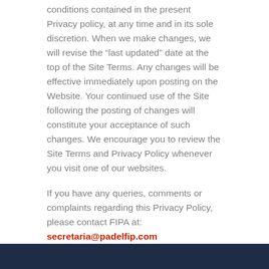conditions contained in the present Privacy policy, at any time and in its sole discretion. When we make changes, we will revise the “last updated” date at the top of the Site Terms. Any changes will be effective immediately upon posting on the Website. Your continued use of the Site following the posting of changes will constitute your acceptance of such changes. We encourage you to review the Site Terms and Privacy Policy whenever you visit one of our websites.
If you have any queries, comments or complaints regarding this Privacy Policy, please contact FIPA at: secretaria@padelfip.com